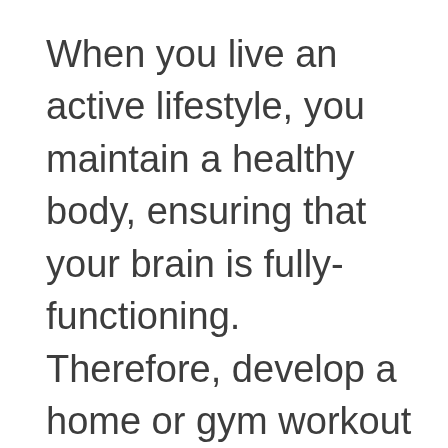When you live an active lifestyle, you maintain a healthy body, ensuring that your brain is fully-functioning. Therefore, develop a home or gym workout routine that stretches your body and rejuvenates blood flow.